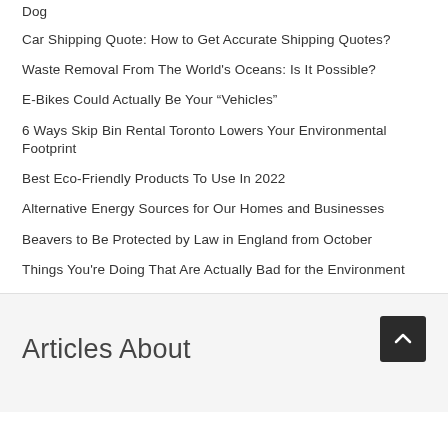Dog
Car Shipping Quote: How to Get Accurate Shipping Quotes?
Waste Removal From The World's Oceans: Is It Possible?
E-Bikes Could Actually Be Your “Vehicles”
6 Ways Skip Bin Rental Toronto Lowers Your Environmental Footprint
Best Eco-Friendly Products To Use In 2022
Alternative Energy Sources for Our Homes and Businesses
Beavers to Be Protected by Law in England from October
Things You're Doing That Are Actually Bad for the Environment
Articles About